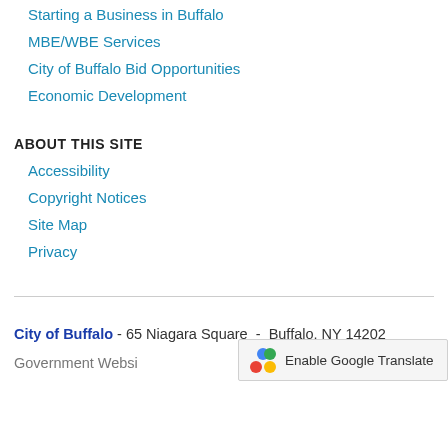Starting a Business in Buffalo
MBE/WBE Services
City of Buffalo Bid Opportunities
Economic Development
ABOUT THIS SITE
Accessibility
Copyright Notices
Site Map
Privacy
City of Buffalo - 65 Niagara Square - Buffalo, NY 14202
Government Websi... Enable Google Translate